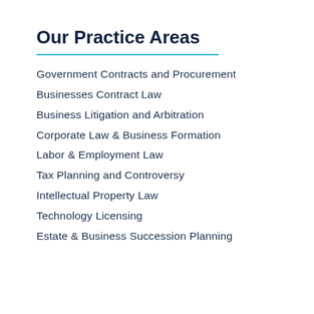Our Practice Areas
Government Contracts and Procurement
Businesses Contract Law
Business Litigation and Arbitration
Corporate Law & Business Formation
Labor & Employment Law
Tax Planning and Controversy
Intellectual Property Law
Technology Licensing
Estate & Business Succession Planning